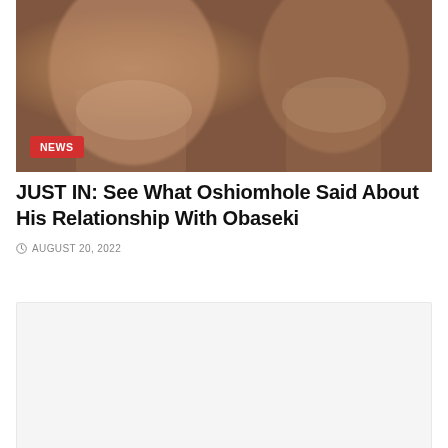[Figure (photo): Two men's faces visible in a blurred/low-quality photograph, with a red NEWS badge in the bottom-left corner of the image]
JUST IN: See What Oshiomhole Said About His Relationship With Obaseki
AUGUST 20, 2022
[Figure (other): Gray placeholder/advertisement box]